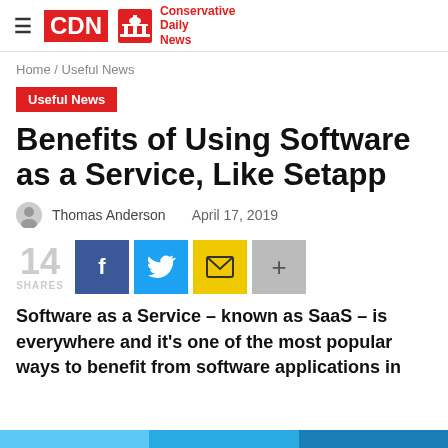CDN Conservative Daily News
Home / Useful News
Useful News
Benefits of Using Software as a Service, Like Setapp
Thomas Anderson   April 17, 2019
14 SHARES
Software as a Service – known as SaaS – is everywhere and it's one of the most popular ways to benefit from software applications in